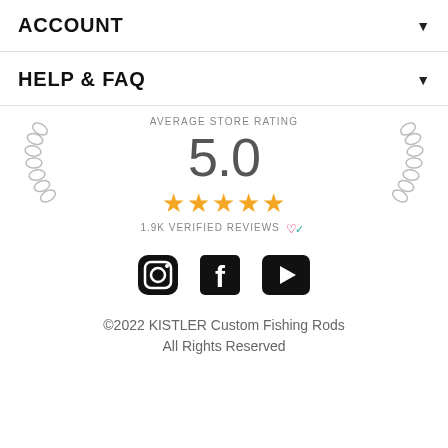ACCOUNT
HELP & FAQ
[Figure (infographic): Average store rating badge with laurel wreaths, showing 5.0 rating with 5 gold stars and 1.9K verified reviews badge]
[Figure (infographic): Social media icons: Instagram, Facebook, YouTube]
©2022 KISTLER Custom Fishing Rods All Rights Reserved